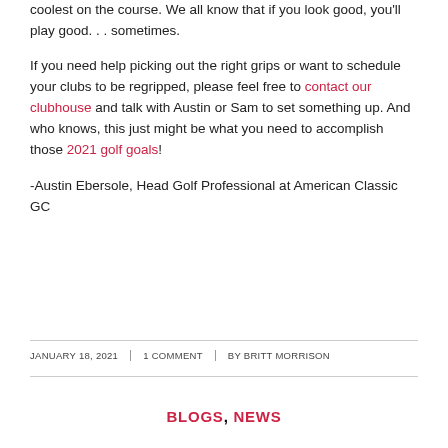coolest on the course. We all know that if you look good, you'll play good. . . sometimes.
If you need help picking out the right grips or want to schedule your clubs to be regripped, please feel free to contact our clubhouse and talk with Austin or Sam to set something up. And who knows, this just might be what you need to accomplish those 2021 golf goals!
-Austin Ebersole, Head Golf Professional at American Classic GC
JANUARY 18, 2021 | 1 COMMENT | BY BRITT MORRISON
BLOGS, NEWS